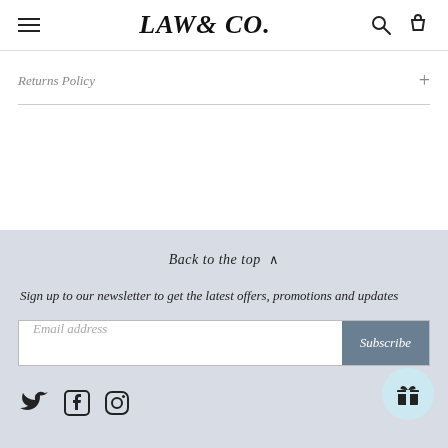LAW & CO.
Returns Policy
Back to the top ^
Sign up to our newsletter to get the latest offers, promotions and updates
Email address
Subscribe